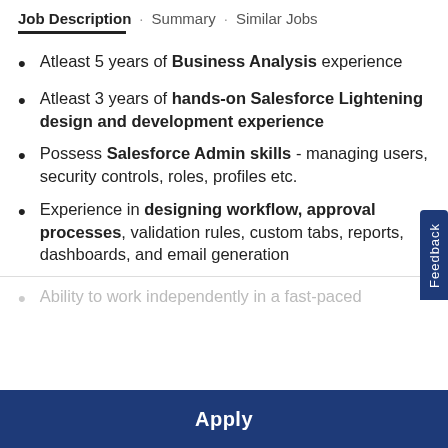Job Description · Summary · Similar Jobs
Atleast 5 years of Business Analysis experience
Atleast 3 years of hands-on Salesforce Lightening design and development experience
Possess Salesforce Admin skills - managing users, security controls, roles, profiles etc.
Experience in designing workflow, approval processes, validation rules, custom tabs, reports, dashboards, and email generation
Ability to work independently in a fast-paced
Apply